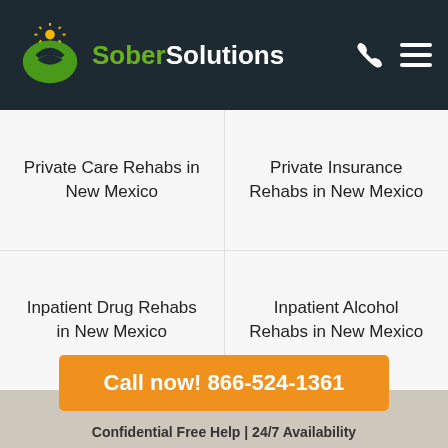Sober Solutions
Private Care Rehabs in New Mexico
Private Insurance Rehabs in New Mexico
Inpatient Drug Rehabs in New Mexico
Inpatient Alcohol Rehabs in New Mexico
Call now! 866-524-1361
Confidential Free Help | 24/7 Availability